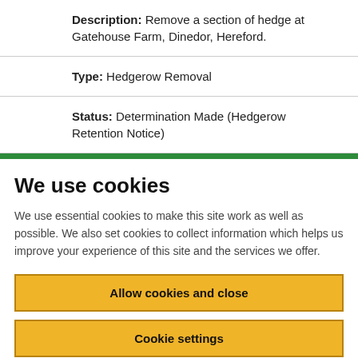Description: Remove a section of hedge at Gatehouse Farm, Dinedor, Hereford.
Type: Hedgerow Removal
Status: Determination Made (Hedgerow Retention Notice)
We use cookies
We use essential cookies to make this site work as well as possible. We also set cookies to collect information which helps us improve your experience of this site and the services we offer.
Allow cookies and close
Cookie settings